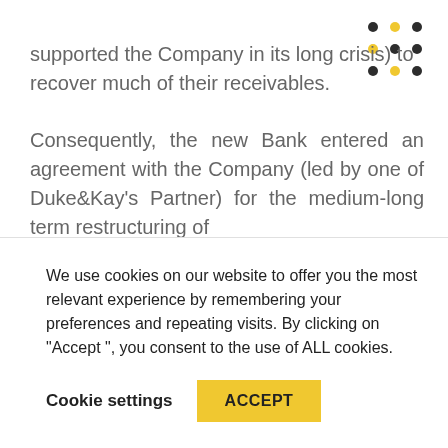[Figure (logo): 3x3 grid of dots in dark gray and yellow colors, company logo top right]
supported the Company in its long crisis) to recover much of their receivables.
Consequently, the new Bank entered an agreement with the Company (led by one of Duke&Kay's Partner) for the medium-long term restructuring of
We use cookies on our website to offer you the most relevant experience by remembering your preferences and repeating visits. By clicking on "Accept ", you consent to the use of ALL cookies.
Cookie settings
ACCEPT